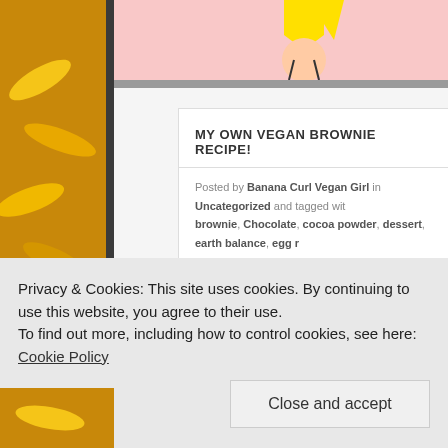[Figure (illustration): Left side banana photo strip in yellow-orange tones]
[Figure (illustration): Pink header with cartoon character wearing yellow hat]
MY OWN VEGAN BROWNIE RECIPE!
Posted by Banana Curl Vegan Girl in Uncategorized and tagged with brownie, Chocolate, cocoa powder, dessert, earth balance, egg re recipe, sugar, vanilla, vegan
[Figure (photo): Dark chocolate brownies photo]
Privacy & Cookies: This site uses cookies. By continuing to use this website, you agree to their use.
To find out more, including how to control cookies, see here: Cookie Policy
Close and accept